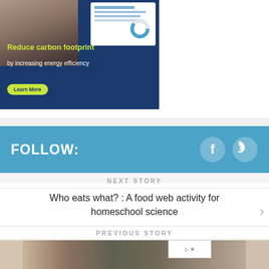[Figure (photo): Advertisement banner with dark blue background showing text 'Reduce carbon footprint by increasing energy efficiency' with a green Learn More button and a chart/document image in the upper right corner]
FOLLOW:
NEXT STORY
Who eats what? : A food web activity for homeschool science
PREVIOUS STORY
National Museum of the Philippines: The National Art Gallery
[Figure (photo): Bottom image strip showing a muted brown/gray textured surface, partially obscured by an advertisement overlay]